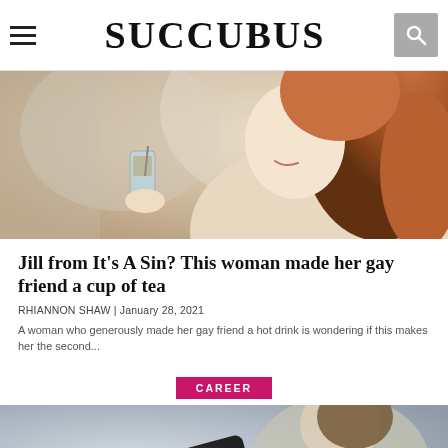SUCCUBUS
[Figure (photo): Woman with red/auburn hair in profile view, smiling, holding a glass drink, blurred background]
Jill from It's A Sin? This woman made her gay friend a cup of tea
RHIANNON SHAW | January 28, 2021
A woman who generously made her gay friend a hot drink is wondering if this makes her the second...
CAREER
[Figure (photo): Person holding a TV remote control in foreground, woman with dark hair in background looking worried or thoughtful]